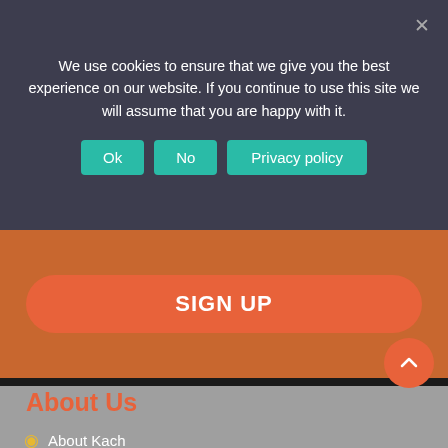We use cookies to ensure that we give you the best experience on our website. If you continue to use this site we will assume that you are happy with it.
Ok | No | Privacy policy
SIGN UP
About Us
About Kach
New Here?
Media Kit & Brand Partnership
Privacy Policy
Contact Us
Our Services